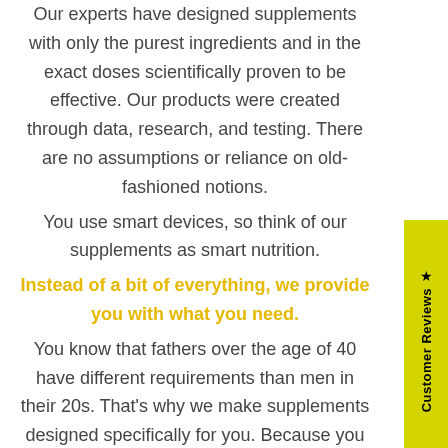Our experts have designed supplements with only the purest ingredients and in the exact doses scientifically proven to be effective. Our products were created through data, research, and testing. There are no assumptions or reliance on old-fashioned notions. You use smart devices, so think of our supplements as smart nutrition. Instead of a bit of everything, we provide you with what you need. You know that fathers over the age of 40 have different requirements than men in their 20s. That's why we make supplements designed specifically for you. Because you
★ Customer Reviews